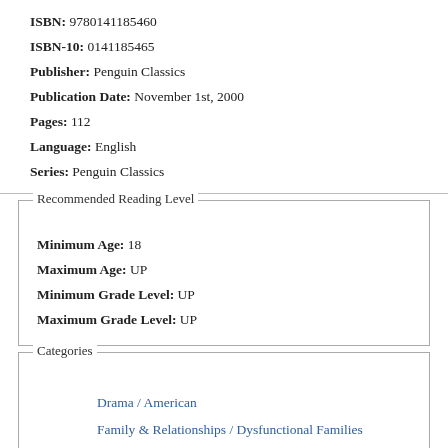ISBN: 9780141185460
ISBN-10: 0141185465
Publisher: Penguin Classics
Publication Date: November 1st, 2000
Pages: 112
Language: English
Series: Penguin Classics
Recommended Reading Level
Minimum Age: 18
Maximum Age: UP
Minimum Grade Level: UP
Maximum Grade Level: UP
Categories
Drama / American
Family & Relationships / Dysfunctional Families
Drama / Ancient & Classical